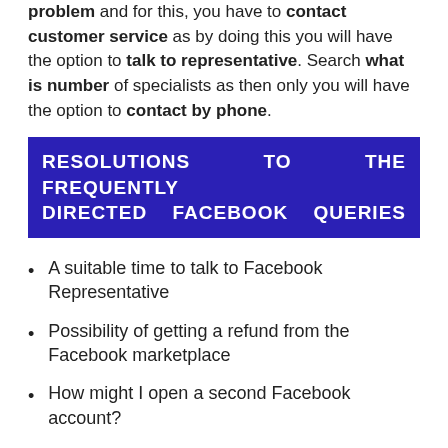problem and for this, you have to contact customer service as by doing this you will have the option to talk to representative. Search what is number of specialists as then only you will have the option to contact by phone.
RESOLUTIONS TO THE FREQUENTLY DIRECTED FACEBOOK QUERIES
A suitable time to talk to Facebook Representative
Possibility of getting a refund from the Facebook marketplace
How might I open a second Facebook account?
Do Facebook provide free posting
Unable to access My Facebook Account